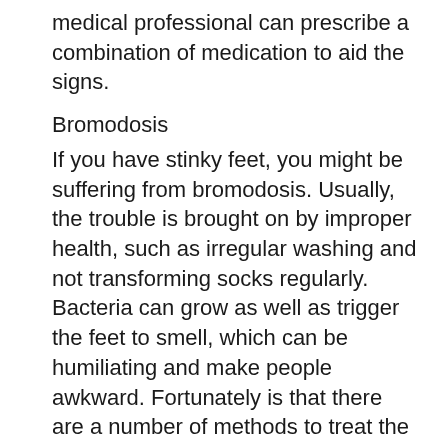medical professional can prescribe a combination of medication to aid the signs.
Bromodosis
If you have stinky feet, you might be suffering from bromodosis. Usually, the trouble is brought on by improper health, such as irregular washing and not transforming socks regularly. Bacteria can grow as well as trigger the feet to smell, which can be humiliating and make people awkward. Fortunately is that there are a number of methods to treat the problem. In most cases, residence therapies will certainly fix the issue, however much more severe instances might call for more powerful approaches.